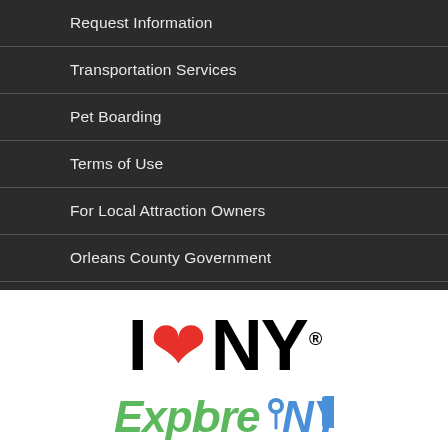Request Information
Transportation Services
Pet Boarding
Terms of Use
For Local Attraction Owners
Orleans County Government
[Figure (logo): I Love NY logo with large black I, red heart, black NY and registered trademark symbol]
[Figure (logo): Explore NY logo in green italic text with map pin icon and blue NY letters and blue square]